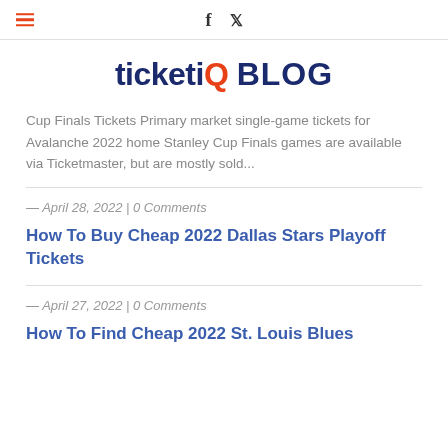ticketIQ BLOG
Cup Finals Tickets Primary market single-game tickets for Avalanche 2022 home Stanley Cup Finals games are available via Ticketmaster, but are mostly sold...
— April 28, 2022 | 0 Comments
How To Buy Cheap 2022 Dallas Stars Playoff Tickets
— April 27, 2022 | 0 Comments
How To Find Cheap 2022 St. Louis Blues